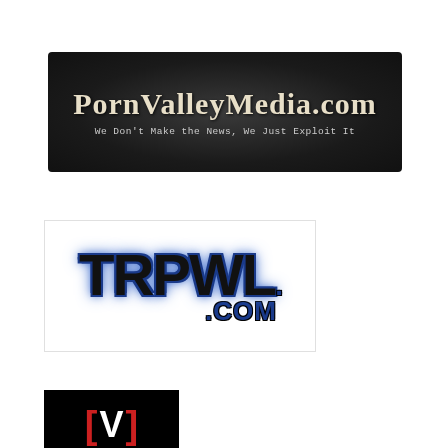[Figure (logo): PornValleyMedia.com logo — dark gradient background with serif white/cream title text and monospace tagline 'We Don't Make the News, We Just Exploit It']
[Figure (logo): TRPWL.com logo — grunge-style bold lettering in black with blue glow/shadow effect, .COM in blue below]
[Figure (logo): Partially visible logo with black background, red brackets and white letter V — [V]]